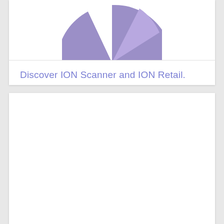[Figure (pie-chart): Partial pie chart in purple/violet color, cropped at top, showing a pie with a small slice cut out]
Discover ION Scanner and ION Retail.
[Figure (other): Empty white card area below]